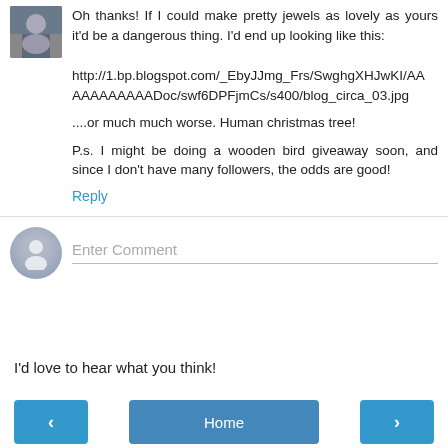[Figure (photo): Small thumbnail photo of a person or people, used as commenter avatar]
Oh thanks! If I could make pretty jewels as lovely as yours it'd be a dangerous thing. I'd end up looking like this:
http://1.bp.blogspot.com/_EbyJJmg_Frs/SwghgXHJwKI/AAAAAAAADoc/swf6DPFjmCs/s400/blog_circa_03.jpg
....or much much worse. Human christmas tree!
P.s. I might be doing a wooden bird giveaway soon, and since I don't have many followers, the odds are good!
Reply
[Figure (illustration): Generic user avatar circle with silhouette icon]
Enter Comment
I'd love to hear what you think!
< Home >